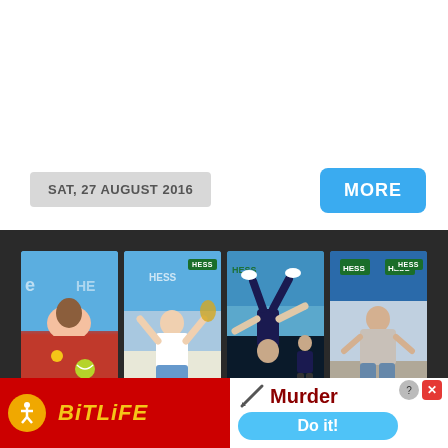SAT, 27 AUGUST 2016
MORE
[Figure (photo): Dark background strip with four sports/event photos: (1) girl in red dress holding medal at tennis event; (2) male tennis player with arms raised in victory; (3) acrobatic action shot of person upside down at tennis court; (4) teenage boy standing at Hess-sponsored event. HESS branding visible in multiple photos.]
[Figure (photo): BitLife app advertisement banner: red background with yellow italic BitLife text and sperm logo icon on the left; white panel on right showing 'Murder' option text and blue 'Do it!' button. Ad close buttons (X) visible in top right corner.]